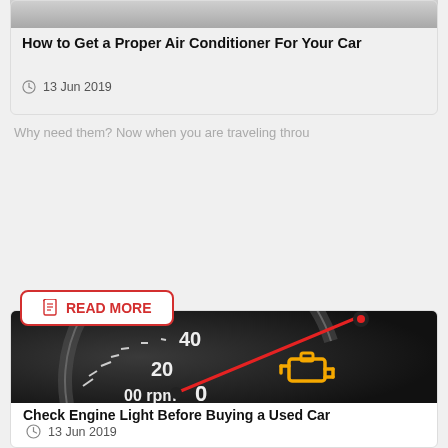[Figure (photo): Partial image of car interior, top of page (cut off)]
How to Get a Proper Air Conditioner For Your Car
13 Jun 2019
Why need them? Now when you are traveling throu
READ MORE
[Figure (photo): Car dashboard speedometer with check engine warning light glowing in yellow/orange, red needle indicator visible]
Check Engine Light Before Buying a Used Car
13 Jun 2019
While we are preoccupied with various elements rel